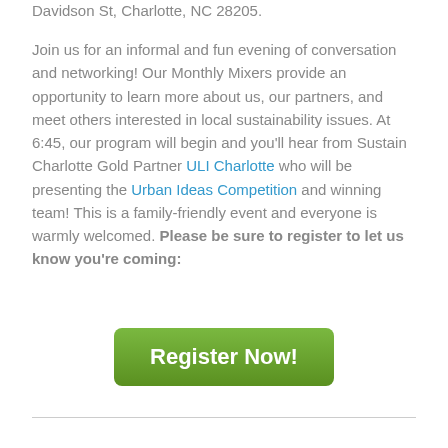Davidson St, Charlotte, NC 28205.
Join us for an informal and fun evening of conversation and networking! Our Monthly Mixers provide an opportunity to learn more about us, our partners, and meet others interested in local sustainability issues. At 6:45, our program will begin and you'll hear from Sustain Charlotte Gold Partner ULI Charlotte who will be presenting the Urban Ideas Competition and winning team! This is a family-friendly event and everyone is warmly welcomed. Please be sure to register to let us know you're coming:
[Figure (other): Green rounded rectangle button with white bold text reading 'Register Now!']